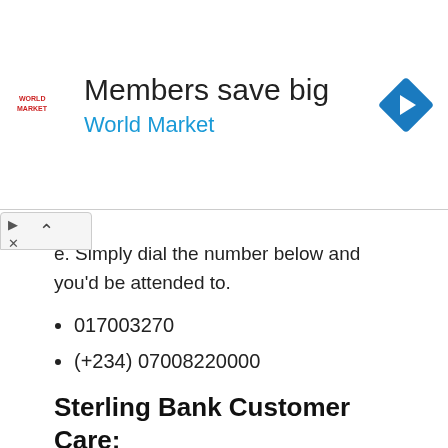[Figure (infographic): Advertisement banner for World Market with logo, text 'Members save big / World Market', and a blue diamond navigation icon]
e. Simply dial the number below and you'd be attended to.
017003270
(+234) 07008220000
Sterling Bank Customer Care: Email Address
Writing an email to communicate over the internet is a norm now and Sterling Bank also adopts this medium to get through to their customers. So if you have any questions or you want an issue on your account addressed, write to them at customercare@sterling.ng...